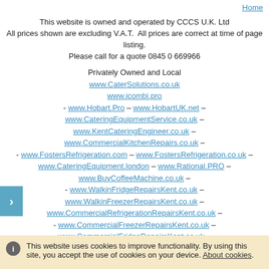Home
This website is owned and operated by CCCS U.K. Ltd
All prices shown are excluding V.A.T. All prices are correct at time of page listing.
Please call for a quote 0845 0 669966
Privately Owned and Local
www.CaterSolutions.co.uk
www.icombi.pro
- www.Hobart.Pro – www.HobartUK.net – www.CateringEquipmentService.co.uk – www.KentCateringEngineer.co.uk – www.CommercialKitchenRepairs.co.uk – - www.FostersRefrigeration.com – www.FostersRefrigeration.co.uk – www.CateringEquipment.london – www.Rational.PRO – www.BuyCoffeeMachine.co.uk – - www.WalkinFridgeRepairsKent.co.uk – www.WalkinFreezerRepairsKent.co.uk – www.CommercialRefrigerationRepairsKent.co.uk – - www.CommercialFreezerRepairsKent.co.uk – www.CommercialFridgeRepairsKent.co.uk – www.ColdRoomRepairsKent.co.uk – - www.CombiOvenRepairKent.co.uk – www.RationalRepairKent.co.uk – www.GlasswasherRepairKent.co.uk – www.CommercialFryerRepairKent.co.uk – - www.CommercialDishwasherRepairKent.co.uk – www.Synergy-Grill.com
Commercial Catering and Refrigeration Equipment
SALES – REPAIRS – SERVICE – TESTING – PARTS
Cool Care (S.E.) Ltd & Cater Solutions Ltd Merged in 2015 to become
CCCS U.K. Ltd – Trading as Cater Solutions
25years Service
This website uses cookies to improve functionality. By using this site, you accept the use of cookies on your device. About cookies.